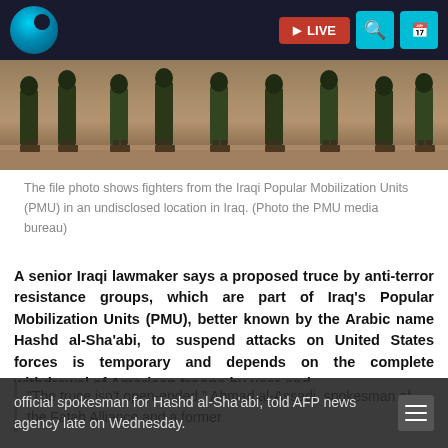[Figure (photo): Screenshot of a news website with a dark navigation bar featuring a circular logo and LIVE button, showing a photo of fighters from the Iraqi Popular Mobilization Units (PMU) standing in formation at an undisclosed location.]
The file photo shows fighters from the Iraqi Popular Mobilization Units (PMU) in an undisclosed location in Iraq. (Photo the PMU media bureau)
A senior Iraqi lawmaker says a proposed truce by anti-terror resistance groups, which are part of Iraq's Popular Mobilization Units (PMU), better known by the Arabic name Hashd al-Sha'abi, to suspend attacks on United States forces is temporary and depends on the complete withdrawal of American troops by year-end.
“The truce isn't open-ended,” Ahmad al-Assadi, spokesman of the Fatah Alliance and a former official spokesman for Hashd al-Sha'abi, told AFP news agency late on Wednesday.